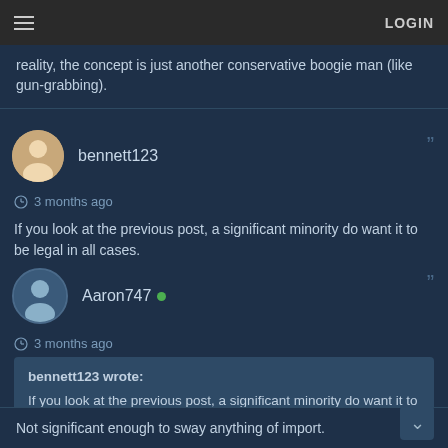LOGIN
reality, the concept is just another conservative boogie man (like gun-grabbing).
bennett123
3 months ago
If you look at the previous post, a significant minority do want it to be legal in all cases.
Aaron747
3 months ago
bennett123 wrote:
If you look at the previous post, a significant minority do want it to be legal in all cases.
Not significant enough to sway anything of import.